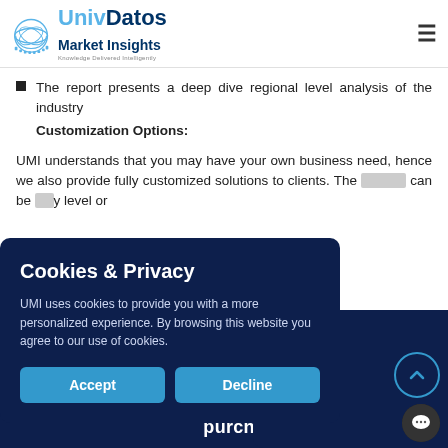UnivDatos Market Insights — Knowledge Delivered Intelligently
The report presents a deep dive regional level analysis of the industry
Customization Options:
UMI understands that you may have your own business need, hence we also provide fully customized solutions to clients. The [content obscured] can be [content obscured]y level or [content obscured]
Cookies & Privacy
UMI uses cookies to provide you with a more personalized experience. By browsing this website you agree to our use of cookies.
Accept   Decline
purchase parts of this